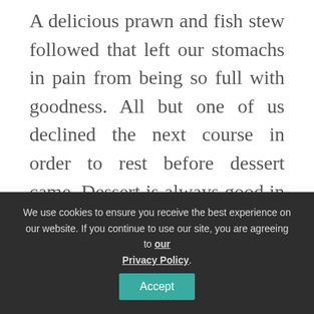A delicious prawn and fish stew followed that left our stomachs in pain from being so full with goodness. All but one of us declined the next course in order to rest before dessert came. Dessert is always good in Spain so it is definitely worth planning ahead and leaving some room.

A selection of Turrón and pieces of tortell (a giant brioche doughnut-like concoction with
We use cookies to ensure you receive the best experience on our website. If you continue to use our site, you are agreeing to our Privacy Policy.